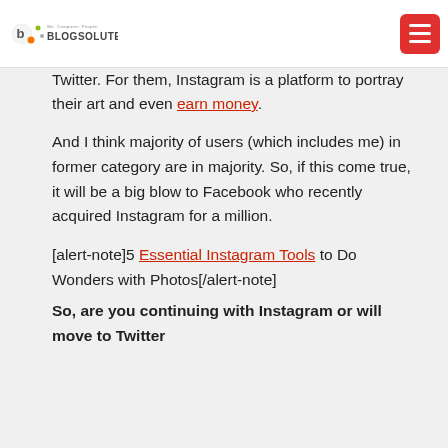Blogsolute — We. Computer. People.
Twitter. For them, Instagram is a platform to portray their art and even earn money.
And I think majority of users (which includes me) in former category are in majority. So, if this come true, it will be a big blow to Facebook who recently acquired Instagram for a million.
[alert-note]5 Essential Instagram Tools to Do Wonders with Photos[/alert-note]
So, are you continuing with Instagram or will move to Twitter